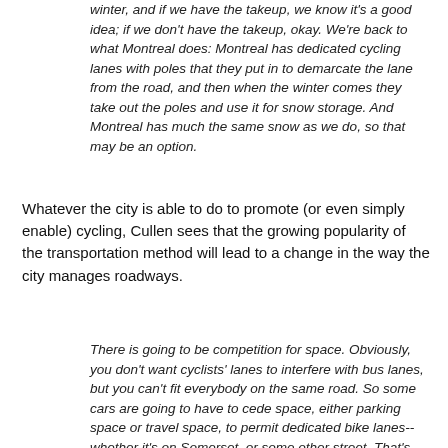winter, and if we have the takeup, we know it's a good idea; if we don't have the takeup, okay. We're back to what Montreal does: Montreal has dedicated cycling lanes with poles that they put in to demarcate the lane from the road, and then when the winter comes they take out the poles and use it for snow storage. And Montreal has much the same snow as we do, so that may be an option.
Whatever the city is able to do to promote (or even simply enable) cycling, Cullen sees that the growing popularity of the transportation method will lead to a change in the way the city manages roadways.
There is going to be competition for space. Obviously, you don't want cyclists' lanes to interfere with bus lanes, but you can't fit everybody on the same road. So some cars are going to have to cede space, either parking space or travel space, to permit dedicated bike lanes--whether it's on Somerset, or some other street. That's going to be a big cultural